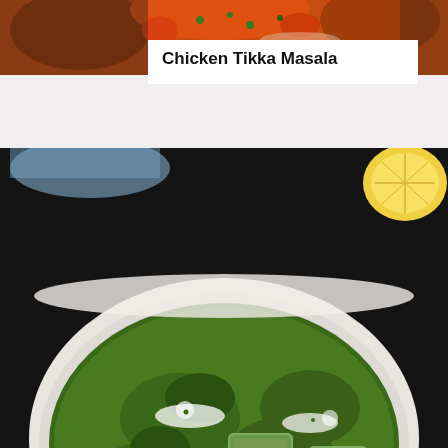[Figure (photo): Partial top view of Chicken Tikka Masala dish in a pan, orange-red curry with herbs, cropped at top]
Chicken Tikka Masala
[Figure (photo): Overhead shot of Palak Paneer (Spinach Paneer) in a white bowl on dark background. Green spinach curry with paneer cubes and cream swirls, with a lemon slice visible at top right]
Palak Paneer Recipe | Spinach Paneer
[Figure (photo): Partial bottom view of another Indian curry dish in a dark pot, partially cropped]